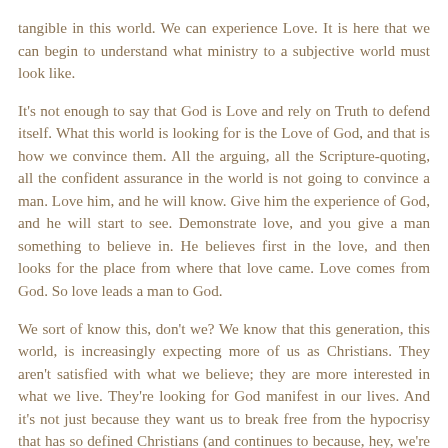tangible in this world. We can experience Love. It is here that we can begin to understand what ministry to a subjective world must look like.
It's not enough to say that God is Love and rely on Truth to defend itself. What this world is looking for is the Love of God, and that is how we convince them. All the arguing, all the Scripture-quoting, all the confident assurance in the world is not going to convince a man. Love him, and he will know. Give him the experience of God, and he will start to see. Demonstrate love, and you give a man something to believe in. He believes first in the love, and then looks for the place from where that love came. Love comes from God. So love leads a man to God.
We sort of know this, don't we? We know that this generation, this world, is increasingly expecting more of us as Christians. They aren't satisfied with what we believe; they are more interested in what we live. They're looking for God manifest in our lives. And it's not just because they want us to break free from the hypocrisy that has so defined Christians (and continues to because, hey, we're human); it's